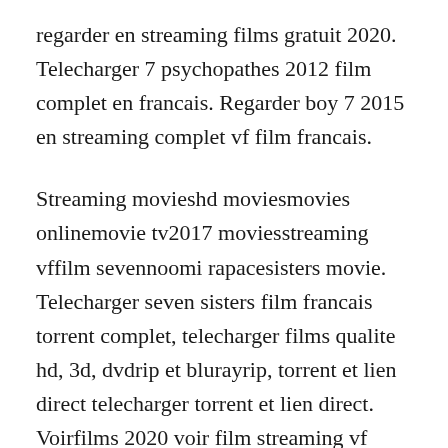regarder en streaming films gratuit 2020. Telecharger 7 psychopathes 2012 film complet en francais. Regarder boy 7 2015 en streaming complet vf film francais.
Streaming movieshd moviesmovies onlinemovie tv2017 moviesstreaming vffilm sevennoomi rapacesisters movie. Telecharger seven sisters film francais torrent complet, telecharger films qualite hd, 3d, dvdrip et blurayrip, torrent et lien direct telecharger torrent et lien direct. Voirfilms 2020 voir film streaming vf complet gratuit en 4k. Film